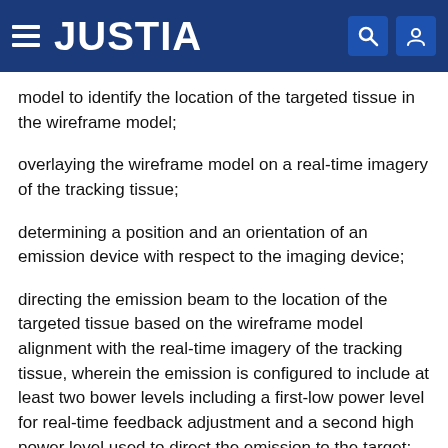JUSTIA
model to identify the location of the targeted tissue in the wireframe model;
overlaying the wireframe model on a real-time imagery of the tracking tissue;
determining a position and an orientation of an emission device with respect to the imaging device;
directing the emission beam to the location of the targeted tissue based on the wireframe model alignment with the real-time imagery of the tracking tissue, wherein the emission is configured to include at least two bower levels including a first-low power level for real-time feedback adjustment and a second high power level used to direct the emission to the target;